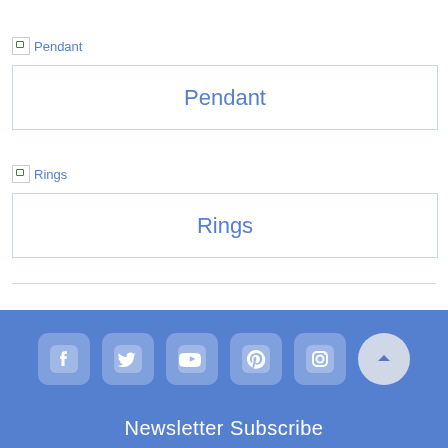[Figure (illustration): Broken image placeholder icon with alt text 'Pendant']
Pendant
[Figure (illustration): Broken image placeholder icon with alt text 'Rings']
Rings
[Figure (infographic): Social media icon row: Facebook, Twitter, YouTube, Pinterest, Instagram, and an up-arrow scroll button]
Newsletter Subscribe